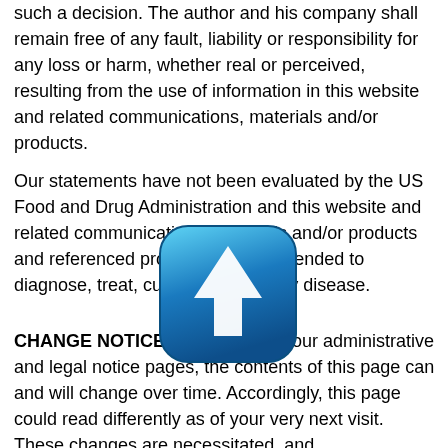such a decision. The author and his company shall remain free of any fault, liability or responsibility for any loss or harm, whether real or perceived, resulting from the use of information in this website and related communications, materials and/or products.
Our statements have not been evaluated by the US Food and Drug Administration and this website and related communications, materials and/or products and referenced products are not intended to diagnose, treat, cure or prevent any disease.
[Figure (illustration): A blue rounded-square icon with a white upward-pointing arrow, resembling a scrolling/navigation button.]
CHANGE NOTICE: As with any of our administrative and legal notice pages, the contents of this page can and will change over time. Accordingly, this page could read differently as of your very next visit. These changes are necessitated, and